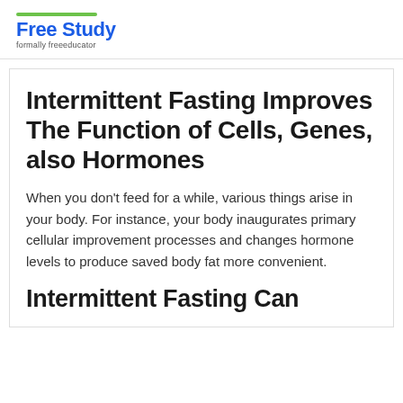Free Study
formally freeeducator
Intermittent Fasting Improves The Function of Cells, Genes, also Hormones
When you don't feed for a while, various things arise in your body. For instance, your body inaugurates primary cellular improvement processes and changes hormone levels to produce saved body fat more convenient.
Intermittent Fasting Can